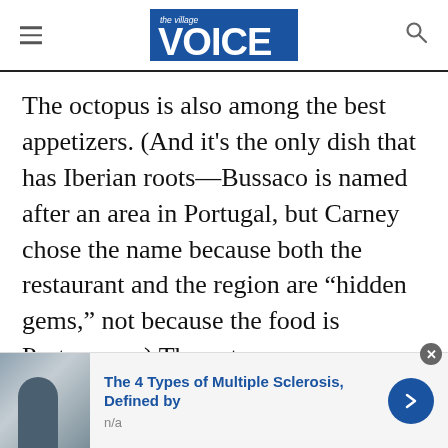the Village VOICE
The octopus is also among the best appetizers. (And it's the only dish that has Iberian roots—Bussaco is named after an area in Portugal, but Carney chose the name because both the restaurant and the region are “hidden gems,” not because the food is Portuguese.) The octopus comes mounded on a plate in thick, inch-long nuggets with prominent suckers—this is not baby octopus, folks. But it is wonderful, braised to tenderness and then charred on the
[Figure (other): Advertisement banner: thumbnail image of a person, headline 'The 4 Types of Multiple Sclerosis, Defined by', subtext 'n/a', blue arrow button, close button]